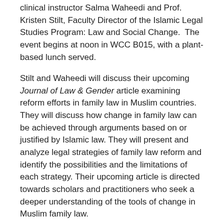clinical instructor Salma Waheedi and Prof. Kristen Stilt, Faculty Director of the Islamic Legal Studies Program: Law and Social Change.  The event begins at noon in WCC B015, with a plant-based lunch served.
Stilt and Waheedi will discuss their upcoming Journal of Law & Gender article examining reform efforts in family law in Muslim countries. They will discuss how change in family law can be achieved through arguments based on or justified by Islamic law. They will present and analyze legal strategies of family law reform and identify the possibilities and the limitations of each strategy. Their upcoming article is directed towards scholars and practitioners who seek a deeper understanding of the tools of change in Muslim family law.
This event is organized by the Journal of Law & Gender and co-sponsored by the Women's Law Association, Islamic Legal Studies Program: Law and Social Change, and the Muslim Law Students Association.